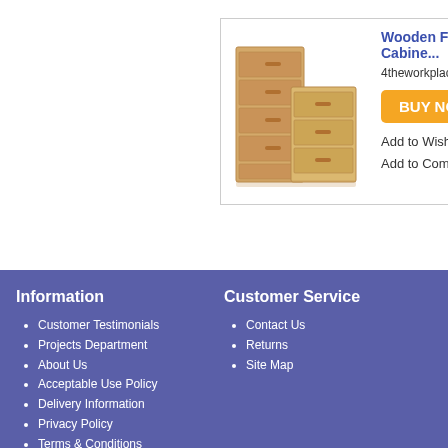[Figure (photo): Wooden filing cabinets product photo showing two light wood multi-drawer filing cabinets of different heights]
Wooden Filing Cabine...
4theworkplace offer one...
BUY NOW
Add to Wish List
Add to Compare
Information
Customer Testimonials
Projects Department
About Us
Acceptable Use Policy
Delivery Information
Privacy Policy
Terms & Conditions
Terms of Website Use
Customer Service
Contact Us
Returns
Site Map